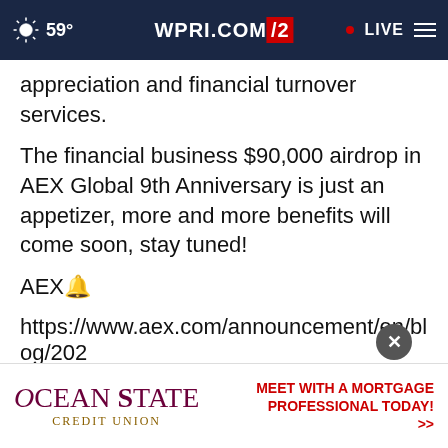59° WPRI.COM 12 LIVE
appreciation and financial turnover services.
The financial business $90,000 airdrop in AEX Global 9th Anniversary is just an appetizer, more and more benefits will come soon, stay tuned!
AEX🔔
https://www.aex.com/announcement/en/blog/202
About AEX Global
AEX G
established in 2013 and committed to becoming
[Figure (screenshot): Ocean State Credit Union advertisement banner with logo and text 'MEET WITH A MORTGAGE PROFESSIONAL TODAY >>']